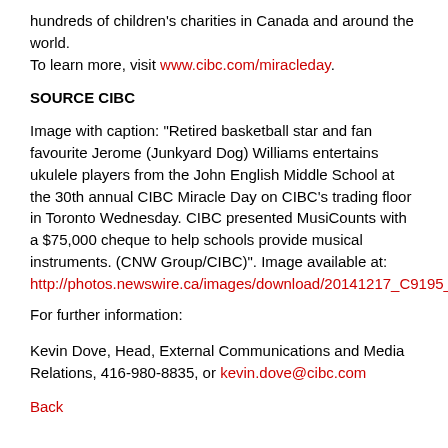hundreds of children's charities in Canada and around the world. To learn more, visit www.cibc.com/miracleday.
SOURCE CIBC
Image with caption: "Retired basketball star and fan favourite Jerome (Junkyard Dog) Williams entertains ukulele players from the John English Middle School at the 30th annual CIBC Miracle Day on CIBC's trading floor in Toronto Wednesday. CIBC presented MusiCounts with a $75,000 cheque to help schools provide musical instruments. (CNW Group/CIBC)". Image available at: http://photos.newswire.ca/images/download/20141217_C9195_PHOTO_
For further information:
Kevin Dove, Head, External Communications and Media Relations, 416-980-8835, or kevin.dove@cibc.com
Back